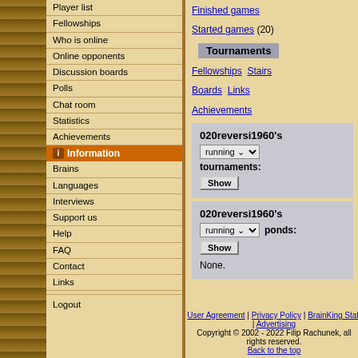Player list
Fellowships
Who is online
Online opponents
Discussion boards
Polls
Chat room
Statistics
Achievements
Information
Brains
Languages
Interviews
Support us
Help
FAQ
Contact
Links
Logout
Finished games
Started games (20)
Tournaments
Fellowships   Stairs
Boards   Links
Achievements
020reversi1960's running tournaments: Show
020reversi1960's running ponds: Show
None.
User Agreement | Privacy Policy | BrainKing Staff | Advertising
Copyright © 2002 - 2022 Filip Rachunek, all rights reserved.
Back to the top